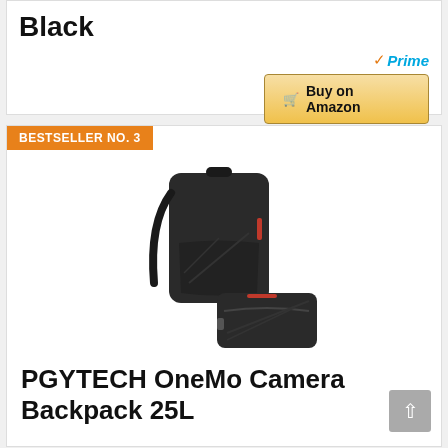Black
[Figure (screenshot): Amazon Prime badge with checkmark and 'Buy on Amazon' button with shopping cart icon]
BESTSELLER NO. 3
[Figure (photo): PGYTECH OneMo Camera Backpack 25L product photo showing a black backpack and a black camera bag/case]
PGYTECH OneMo Camera Backpack 25L